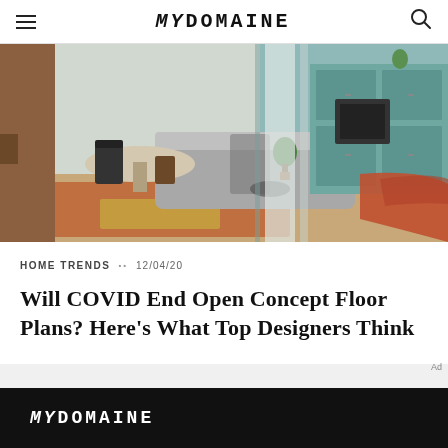MYDOMAINE
[Figure (photo): Interior photo of a modern open-concept apartment featuring a gray sofa, round dining table with black chairs, orange/terracotta rug, teal kitchen cabinetry, and an orange throw blanket in the foreground]
HOME TRENDS •• 12/04/20
Will COVID End Open Concept Floor Plans? Here's What Top Designers Think
MYDOMAINE